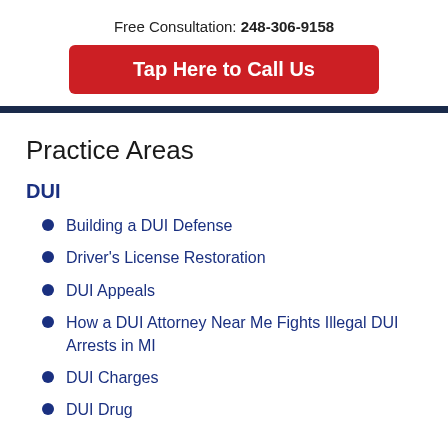Free Consultation: 248-306-9158
Tap Here to Call Us
Practice Areas
DUI
Building a DUI Defense
Driver's License Restoration
DUI Appeals
How a DUI Attorney Near Me Fights Illegal DUI Arrests in MI
DUI Charges
DUI Drug